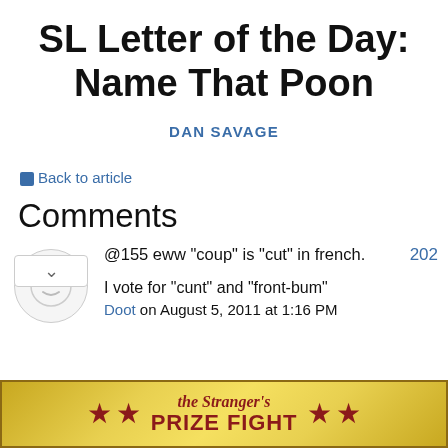SL Letter of the Day: Name That Poon
DAN SAVAGE
← Back to article
Comments
@155 eww "coup" is "cut" in french.
I vote for "cunt" and "front-bum"
Doot on August 5, 2011 at 1:16 PM
[Figure (other): The Stranger's Prize Fight banner advertisement with gold background, red stars, and red bold text reading 'the Stranger's PRIZE FIGHT']